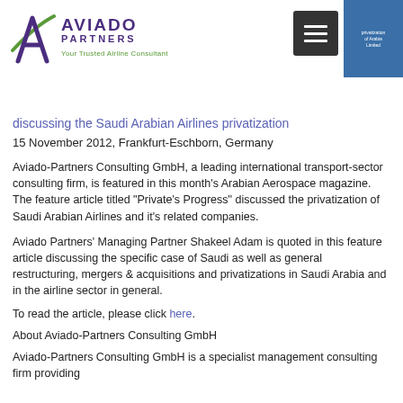Aviado Partners — Your Trusted Airline Consultant
discussing the Saudi Arabian Airlines privatization
15 November 2012, Frankfurt-Eschborn, Germany
Aviado-Partners Consulting GmbH, a leading international transport-sector consulting firm, is featured in this month's Arabian Aerospace magazine. The feature article titled "Private's Progress" discussed the privatization of Saudi Arabian Airlines and it's related companies.
Aviado Partners' Managing Partner Shakeel Adam is quoted in this feature article discussing the specific case of Saudi as well as general restructuring, mergers & acquisitions and privatizations in Saudi Arabia and in the airline sector in general.
To read the article, please click here.
About Aviado-Partners Consulting GmbH
Aviado-Partners Consulting GmbH is a specialist management consulting firm providing